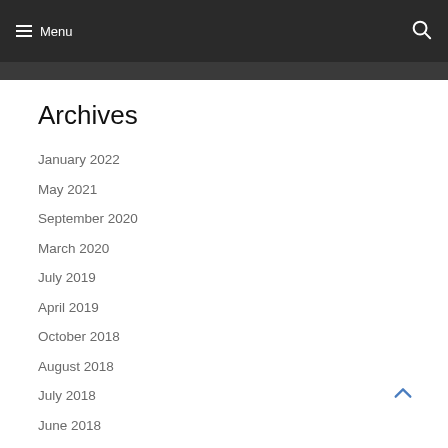Menu
Archives
January 2022
May 2021
September 2020
March 2020
July 2019
April 2019
October 2018
August 2018
July 2018
June 2018